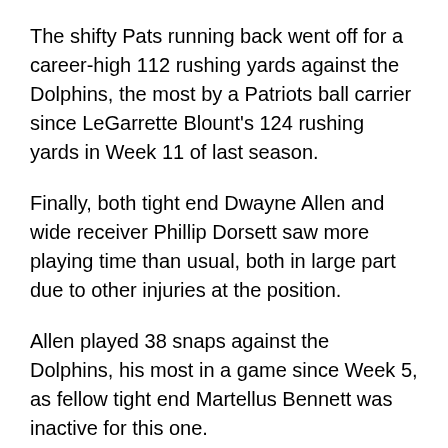The shifty Pats running back went off for a career-high 112 rushing yards against the Dolphins, the most by a Patriots ball carrier since LeGarrette Blount's 124 rushing yards in Week 11 of last season.
Finally, both tight end Dwayne Allen and wide receiver Phillip Dorsett saw more playing time than usual, both in large part due to other injuries at the position.
Allen played 38 snaps against the Dolphins, his most in a game since Week 5, as fellow tight end Martellus Bennett was inactive for this one.
As for Dorsett, he continues to see an uptick in playing time in Chris Hogan's absence.
Dorsett was on the field for 61.4% of the Patriots'